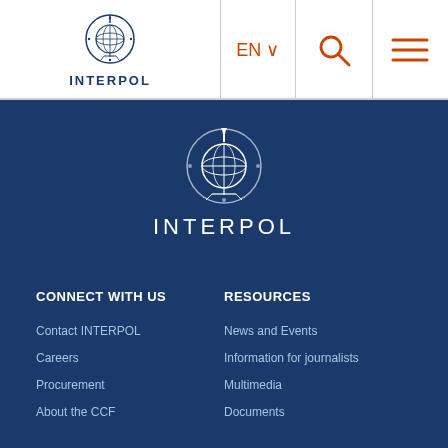[Figure (logo): INTERPOL logo with globe emblem and text in header navigation bar]
[Figure (logo): INTERPOL large white emblem logo centered on dark blue background with INTERPOL wordmark]
CONNECT WITH US
RESOURCES
Contact INTERPOL
News and Events
Careers
Information for journalists
Procurement
Multimedia
About the CCF
Documents